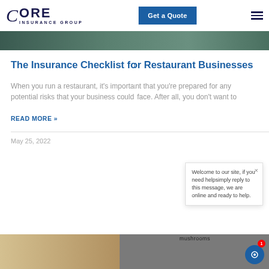CORE INSURANCE GROUP | Get a Quote
[Figure (photo): Photo strip showing restaurant staff in a kitchen setting]
The Insurance Checklist for Restaurant Businesses
When you run a restaurant, it's important that you're prepared for any potential risks that your business could face. After all, you don't want to
READ MORE »
May 25, 2022
Welcome to our site, if you need helpsimply reply to this message, we are online and ready to help.
[Figure (photo): Photo strip showing a person in an office/restaurant environment with a sign reading 'mushrooms']